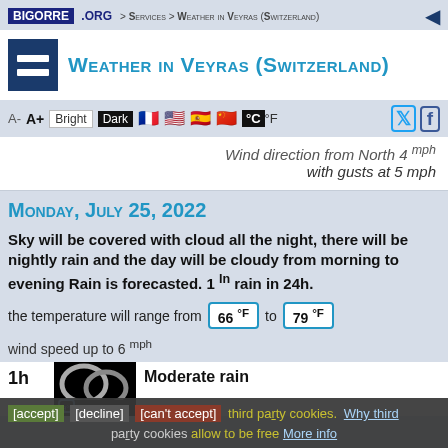BIGORRE .ORG > Services > Weather in Veyras (Switzerland)
Weather in Veyras (Switzerland)
A- A+ Bright Dark °C °F
Wind direction from North 4 mph with gusts at 5 mph
Monday, July 25, 2022
Sky will be covered with cloud all the night, there will be nightly rain and the day will be cloudy from morning to evening Rain is forecasted. 1 In rain in 24h.
the temperature will range from 66 °F to 79 °F
wind speed up to 6 mph
1h  Moderate rain
[accept] [decline] [can't accept] third party cookies. Why third party cookies allow to be free More info
relative humidity of the air is 95%